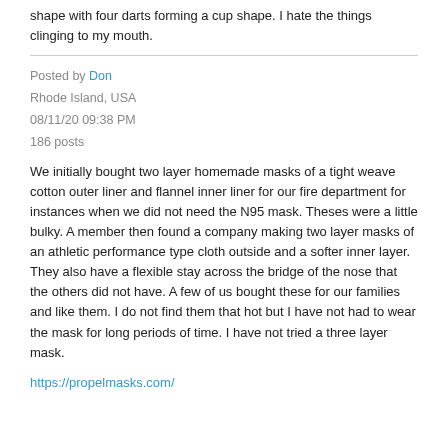shape with four darts forming a cup shape. I hate the things clinging to my mouth.
Posted by Don
Rhode Island, USA
08/11/20 09:38 PM
186 posts
We initially bought two layer homemade masks of a tight weave cotton outer liner and flannel inner liner for our fire department for instances when we did not need the N95 mask. Theses were a little bulky. A member then found a company making two layer masks of an athletic performance type cloth outside and a softer inner layer. They also have a flexible stay across the bridge of the nose that the others did not have. A few of us bought these for our families and like them. I do not find them that hot but I have not had to wear the mask for long periods of time. I have not tried a three layer mask.
https://propelmasks.com/